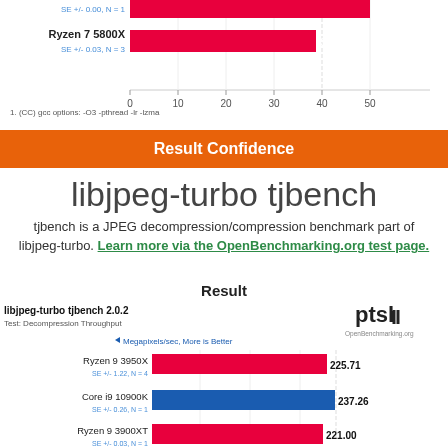[Figure (bar-chart): libjpeg-turbo tjbench 2.0.2 - Test: (partial top)]
1. (CC) gcc options: -O3 -pthread -lr -lzma
Result Confidence
libjpeg-turbo tjbench
tjbench is a JPEG decompression/compression benchmark part of libjpeg-turbo. Learn more via the OpenBenchmarking.org test page.
Result
[Figure (bar-chart): libjpeg-turbo tjbench 2.0.2 - Test: Decompression Throughput]